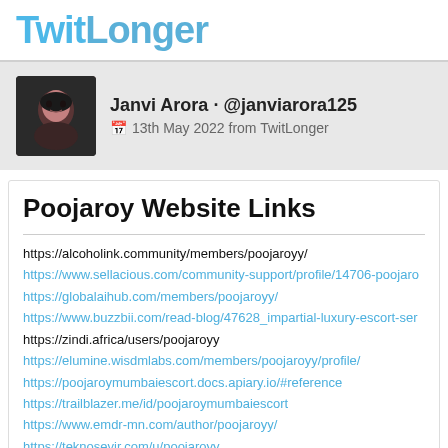TwitLonger
Janvi Arora · @janviarora125
📅 13th May 2022 from TwitLonger
Poojaroy Website Links
https://alcoholink.community/members/poojaroyy/
https://www.sellacious.com/community-support/profile/14706-poojaro
https://globalaihub.com/members/poojaroyy/
https://www.buzzbii.com/read-blog/47628_impartial-luxury-escort-ser
https://zindi.africa/users/poojaroyy
https://elumine.wisdmlabs.com/members/poojaroyy/profile/
https://poojaroymumbaiescort.docs.apiary.io/#reference
https://trailblazer.me/id/poojaroymumbaiescort
https://www.emdr-mn.com/author/poojaroyy/
https://teknosevir.com/u/poojaroyy